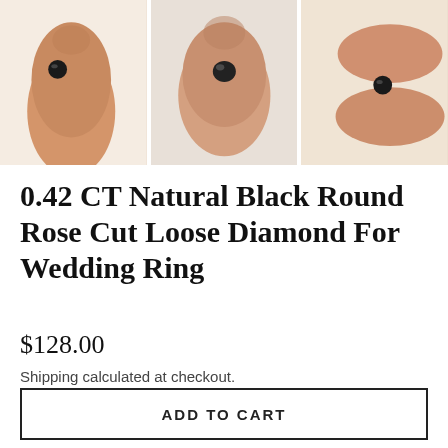[Figure (photo): Three photos showing a small black round rose cut diamond held between fingertips for scale, arranged in a row]
0.42 CT Natural Black Round Rose Cut Loose Diamond For Wedding Ring
$128.00
Shipping calculated at checkout.
ADD TO CART